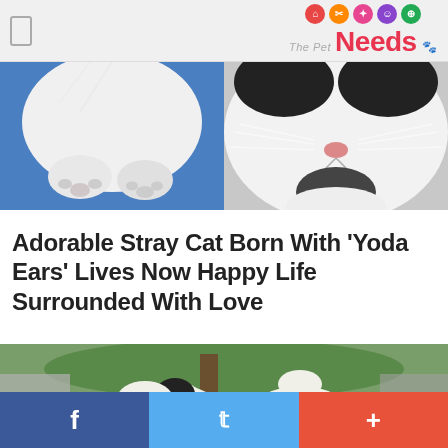The Pet Needs
[Figure (photo): Two-panel cat photo: left panel shows white cat paws on blue background; right panel shows close-up of black and white cat face with whiskers]
Adorable Stray Cat Born With 'Yoda Ears' Lives Now Happy Life Surrounded With Love
[Figure (photo): Group of fluffy black and white Valais Blacknose sheep standing under a large tree in a green field]
f  (Facebook share)  |  (Twitter share)  |  + (More)